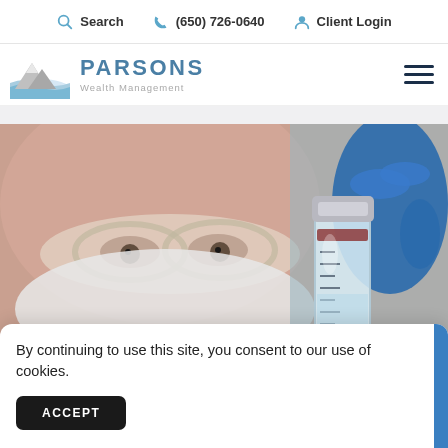Search  (650) 726-0640  Client Login
[Figure (logo): Parsons Wealth Management logo with mountain/wave graphic, company name PARSONS and tagline Wealth Management]
[Figure (photo): Close-up of a scientist or medical professional wearing safety goggles and a face mask, holding a medical vial with a blue gloved hand]
By continuing to use this site, you consent to our use of cookies.
ACCEPT